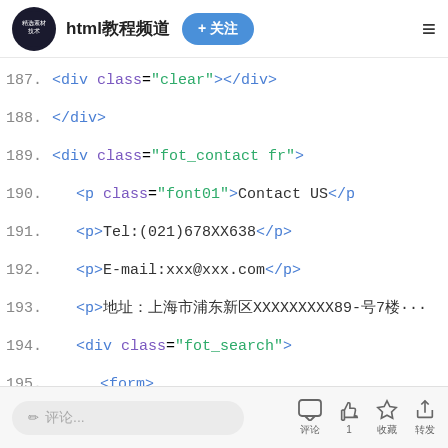html教程频道  + 关注
187.    <div class="clear"></div>
188.    </div>
189.    <div class="fot_contact fr">
190.        <p class="font01">Contact US</p>
191.        <p>Tel:(021)678XX638</p>
192.        <p>E-mail:xxx@xxx.com</p>
193.        <p>地址：上海市浦东新区XXXXXXXXX89-号7楼
194.        <div class="fot_search">
195.            <form>
196.                <input type="text" class="s...
197.                <input type="button" class=...
198.            </form>
评论...  评论  1  收藏  转发